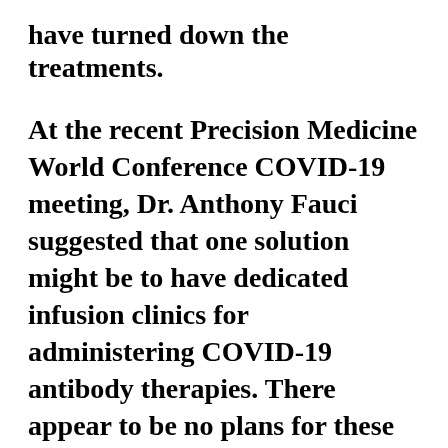have turned down the treatments.
At the recent Precision Medicine World Conference COVID-19 meeting, Dr. Anthony Fauci suggested that one solution might be to have dedicated infusion clinics for administering COVID-19 antibody therapies. There appear to be no plans for these in the near future, however.